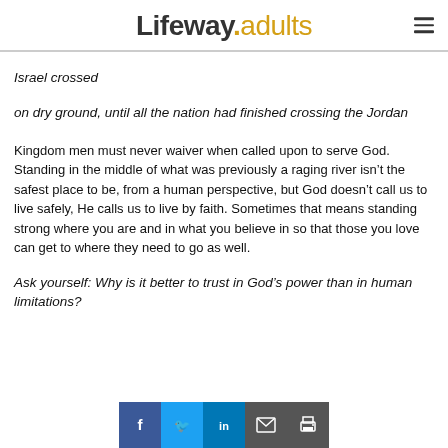Lifeway.adults
Israel crossed
on dry ground, until all the nation had finished crossing the Jordan
Kingdom men must never waiver when called upon to serve God. Standing in the middle of what was previously a raging river isn't the safest place to be, from a human perspective, but God doesn't call us to live safely, He calls us to live by faith. Sometimes that means standing strong where you are and in what you believe in so that those you love can get to where they need to go as well.
Ask yourself: Why is it better to trust in God's power than in human limitations?